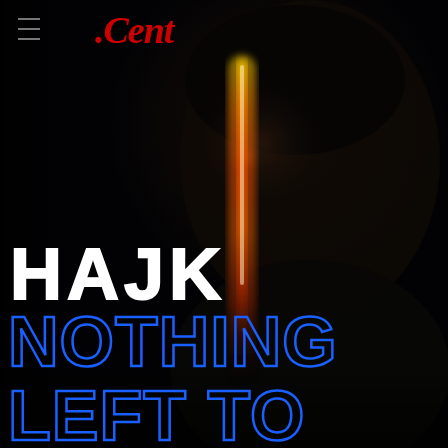[Figure (photo): Dark moody portrait of a person's face in profile/partial view against a dark background with a bright orange/golden vertical light streak running down the center of the image. The person appears to have long dark hair and is partially illuminated by the streak of light.]
.Cent
HAJK
NOTHING LEFT TO SAY